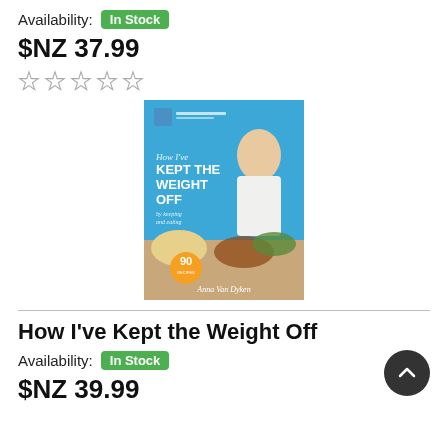Availability: In Stock
$NZ 37.99
[Figure (illustration): Five empty star rating icons in a row]
[Figure (photo): Book cover of 'How I've Kept the Weight Off' by Anna Van Dyken, featuring the author serving a salad on a blue background with food in the foreground and a '90' badge.]
How I've Kept the Weight Off
Availability: In Stock
$NZ 39.99